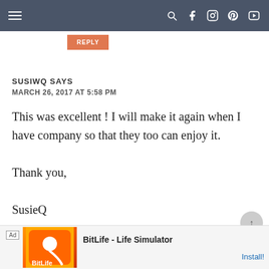Navigation bar with hamburger menu and social icons (search, facebook, instagram, pinterest, youtube)
REPLY
SUSIWQ SAYS
MARCH 26, 2017 AT 5:58 PM
This was excellent ! I will make it again when I have company so that they too can enjoy it.

Thank you,

SusieQ
Ad  BitLife - Life Simulator  Install!